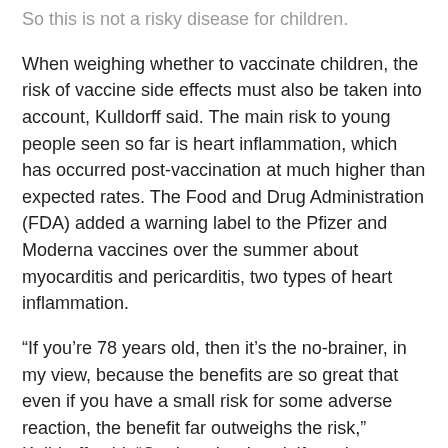So this is not a risky disease for children.
When weighing whether to vaccinate children, the risk of vaccine side effects must also be taken into account, Kulldorff said. The main risk to young people seen so far is heart inflammation, which has occurred post-vaccination at much higher than expected rates. The Food and Drug Administration (FDA) added a warning label to the Pfizer and Moderna vaccines over the summer about myocarditis and pericarditis, two types of heart inflammation.
“If you’re 78 years old, then it’s the no-brainer, in my view, because the benefits are so great that even if you have a small risk for some adverse reaction, the benefit far outweighs the risk,” Kulldorff said. “On the other hand, if you have already have immunity from having had COVID, then the benefits of the vaccines are much, much smaller. If you’re a child, even if you haven’t had COVID, the risk of serious disease or death is minuscule … So it’s not at all clear that the benefits outweigh the risks for children.”
Kulldorff was speaking ahead of an FDA advisory panel meeting. Members on Oct. 26 decided to advise drug...